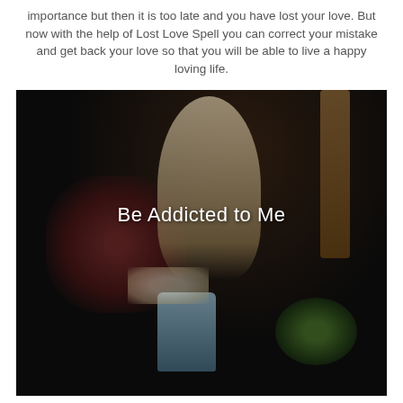importance but then it is too late and you have lost your love. But now with the help of Lost Love Spell you can correct your mistake and get back your love so that you will be able to live a happy loving life.
[Figure (photo): Dark mystical altar photo with a white female figurine/statue in the center, a decorative star-patterned box/cushion on the left, a rope or braid on the right, a blue-grey candle in the lower center, and a green circular object with a star on the lower right. White text overlay reads 'Be Addicted to Me'.]